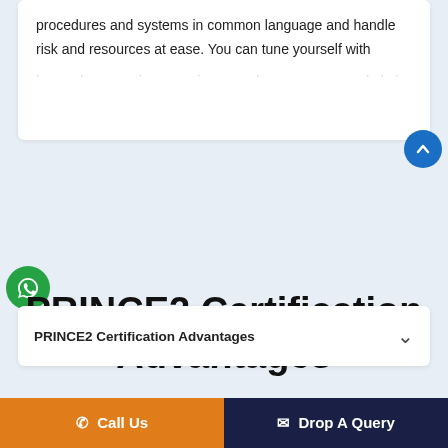procedures and systems in common language and handle risk and resources at ease. You can tune yourself with
PRINCE2 Certification Advantages
PRINCE2 Certification Advantages
Call Us   Drop A Query